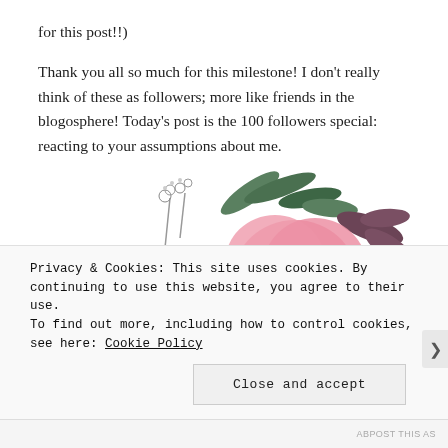for this post!!)
Thank you all so much for this milestone! I don't really think of these as followers; more like friends in the blogosphere! Today's post is the 100 followers special: reacting to your assumptions about me.
[Figure (illustration): Watercolor floral arrangement with pink flowers and gray-green leaves on white background]
Privacy & Cookies: This site uses cookies. By continuing to use this website, you agree to their use.
To find out more, including how to control cookies, see here: Cookie Policy
Close and accept
ABPOST THIS AS